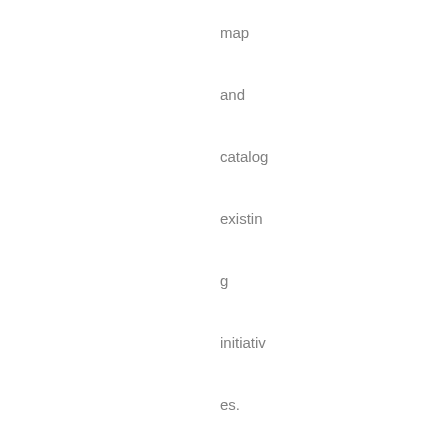map and catalog existing initiatives. Identify and develop additional food-growing areas in and around